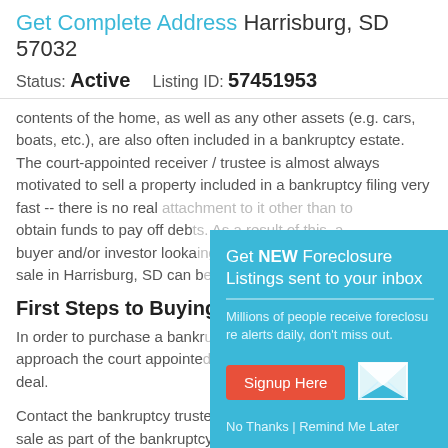Get Complete Address Harrisburg, SD 57032
Status: Active    Listing ID: 57451953
contents of the home, as well as any other assets (e.g. cars, boats, etc.), are also often included in a bankruptcy estate. The court-appointed receiver / trustee is almost always motivated to sell a property included in a bankruptcy filing very fast -- there is no real attachment to it other than to obtain funds to pay off debts. As a result of this, a buyer and/or investor looking for a bankruptcy property for sale in Harrisburg, SD can b
First Steps to Buying
In order to purchase a bankruptcy property for sale, you can approach the court appointed receiver / trustee to negotiate a deal.
Contact the bankruptcy trustee to find out if the property is for sale as part of the bankruptcy.  If so, request the terms for the sale of the property as well as any additional information regarding the condition of the property. This will help
[Figure (infographic): Popup overlay: 'Get NEW Foreclosure Listings sent to your inbox' with subtitle 'Millions of people receive foreclosure alerts daily, don't miss out.' A red 'Signup Here' button with an email icon. Below: 'No Thanks | Remind Me Later' links.]